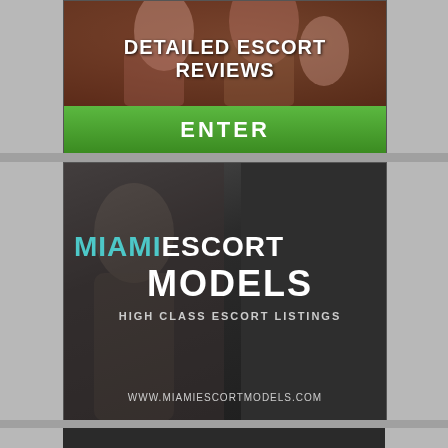[Figure (photo): Advertisement banner: photo of women at top, text 'DETAILED ESCORT REVIEWS' in white bold on dark blue background, green ENTER button below]
[Figure (photo): Advertisement banner for MiamiEscortModels: dark background with woman silhouette, text 'MIAMIESCORT MODELS HIGH CLASS ESCORT LISTINGS' and URL www.miamiescortmodels.com]
[Figure (photo): Partial bottom advertisement banner, dark background, partially visible]